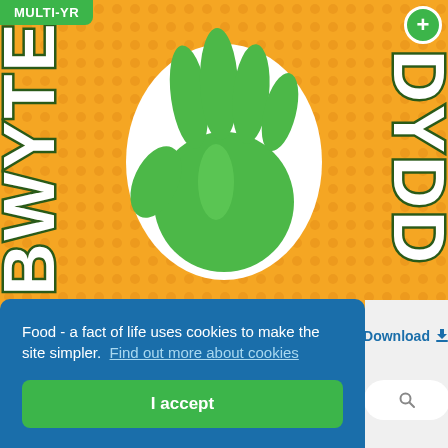[Figure (illustration): Orange dotted poster background with a green hand silhouette in the center, white bold text 'BWYTE' rotated vertically on the left and 'DYDD' rotated vertically on the right, with green Welsh-language 5 A DAY branding. A 'MULTI-YR' green badge is in the top left and a green plus circle badge in the top right.]
Have 5 A DAY poster (Welsh)
Food - a fact of life uses cookies to make the site simpler.  Find out more about cookies
I accept